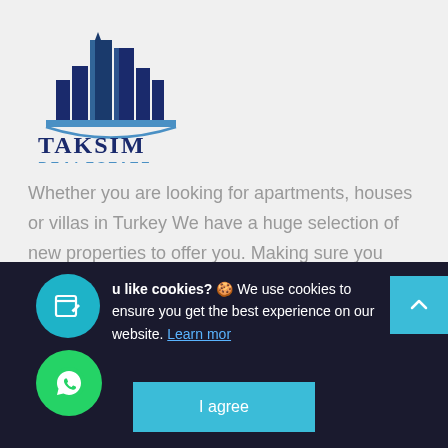[Figure (logo): Taksim Real Estate logo with city skyline buildings in dark blue and blue color, with 'TAKSIM' in dark navy text and 'REALESTATE' in blue text below]
Whether you are looking for apartments, houses or villas in Turkey We have a huge selection of new properties to offer you. Making sure you select the right property is crucial to us as we act as your consultant to guide you through the maze of opportunities, allow you to review and compare all the property details under one roof.
u like cookies? 🍪 We use cookies to ensure you get the best experience on our website. Learn more
I agree